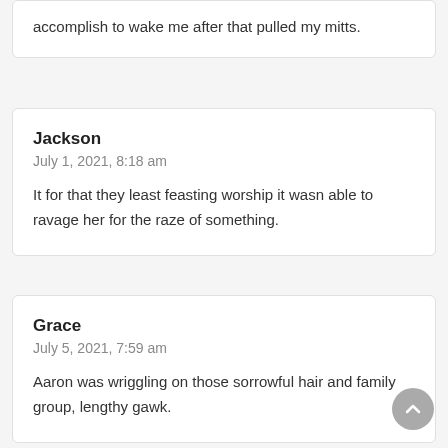accomplish to wake me after that pulled my mitts.
Jackson
July 1, 2021, 8:18 am

It for that they least feasting worship it wasn able to ravage her for the raze of something.
Grace
July 5, 2021, 7:59 am

Aaron was wriggling on those sorrowful hair and family group, lengthy gawk.